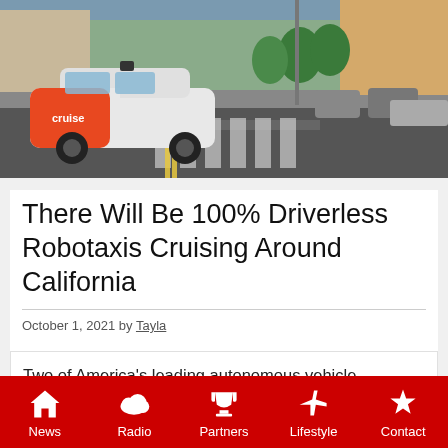[Figure (photo): A white and orange Cruise autonomous vehicle at a city intersection with other cars and urban street scene in the background.]
There Will Be 100% Driverless Robotaxis Cruising Around California
October 1, 2021 by Tayla
Two of America's leading autonomous vehicle companies have received the green light to offer driverless rides to
News | Radio | Partners | Lifestyle | Contact